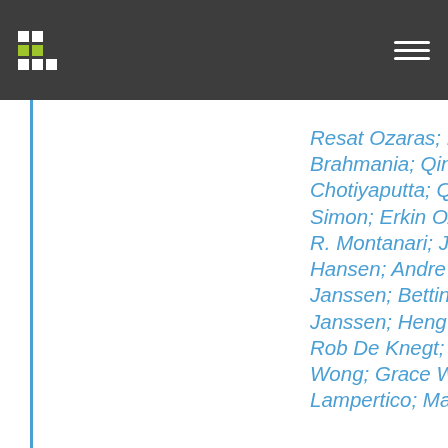Resat Ozaras; Karin Kozbial; Mayur Brahmania; Qing Xie; Watcharasak Chotiyaputta; Qi Xun; Monika Pazgan-Simon; Erkin Oztas; Elke Verhey; Noé R. Montanari; Jian Sun; Bettina E. Hansen; Andre Boonstra; Harry L.A. Janssen; Bettina Hansen; Harry Janssen; Heng Chi; Milan Sonneveld; Rob De Knegt; Henry Chan; Vincent Wong; Grace Wong; Pietro Lampertico; Marta Borghi; Alessandro